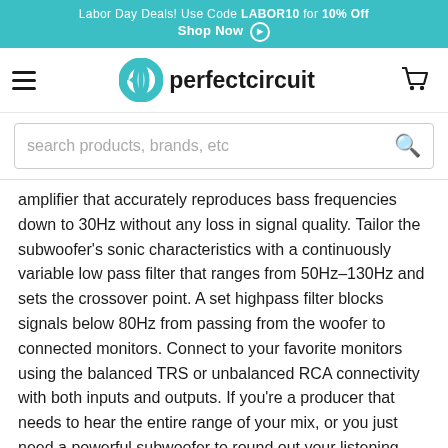Labor Day Deals! Use Code LABOR10 for 10% Off Shop Now
[Figure (logo): Perfect Circuit logo with hamburger menu and cart icon]
search products, brands, etc
amplifier that accurately reproduces bass frequencies down to 30Hz without any loss in signal quality. Tailor the subwoofer's sonic characteristics with a continuously variable low pass filter that ranges from 50Hz–130Hz and sets the crossover point. A set highpass filter blocks signals below 80Hz from passing from the woofer to connected monitors. Connect to your favorite monitors using the balanced TRS or unbalanced RCA connectivity with both inputs and outputs. If you're a producer that needs to hear the entire range of your mix, or you just need a powerful subwoofer to round out your listening setup, the Sub8 is an excellent choice.
ERIS SUB8 FEATURES